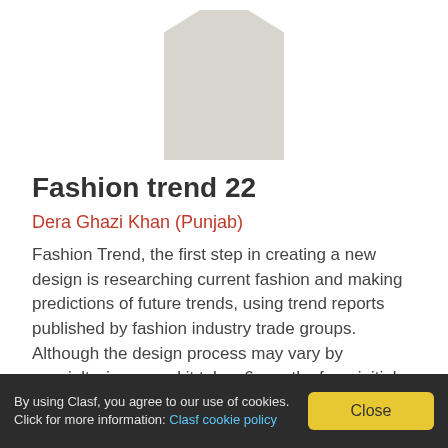[Figure (photo): Partial view of a grey/beige garment or clothing item shown from above, cropped at top]
Fashion trend 22
Dera Ghazi Khan (Punjab)
Fashion Trend, the first step in creating a new design is researching current fashion and making predictions of future trends, using trend reports published by fashion industry trade groups. Although the design process may vary by specialty, in general it takes 6 months from initial
[Figure (other): See product button - blue gradient rectangular button]
By using Clasf, you agree to our use of cookies. Click for more information: Clasf cookie policy